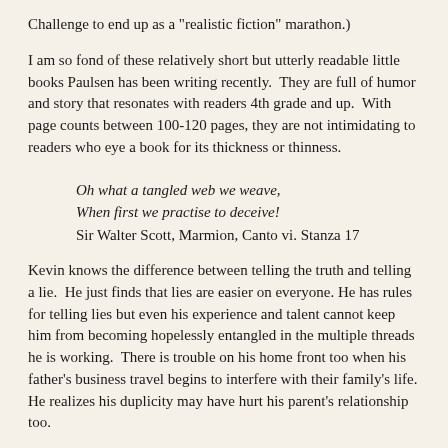Challenge to end up as a "realistic fiction" marathon.)
I am so fond of these relatively short but utterly readable little books Paulsen has been writing recently.  They are full of humor and story that resonates with readers 4th grade and up.  With page counts between 100-120 pages, they are not intimidating to readers who eye a book for its thickness or thinness.
Oh what a tangled web we weave,
When first we practise to deceive!
Sir Walter Scott, Marmion, Canto vi. Stanza 17
Kevin knows the difference between telling the truth and telling a lie.  He just finds that lies are easier on everyone. He has rules for telling lies but even his experience and talent cannot keep him from becoming hopelessly entangled in the multiple threads he is working.  There is trouble on his home front too when his father's business travel begins to interfere with their family's life. He realizes his duplicity may have hurt his parent's relationship too.
Kevin realizes the value of truth telling in a poignant moment with